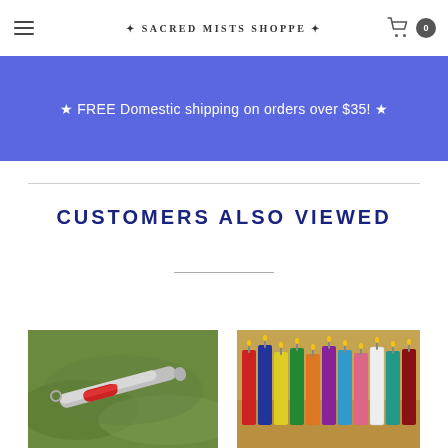Sacred Mists Shoppe
★ FREE Domestic shipping on orders over $35! ★
CUSTOMERS ALSO VIEWED
[Figure (photo): Photo of a silver/red pen or stylus on green moss background]
[Figure (photo): Photo of colorful candles arranged in rows on a sandy/earthy background]